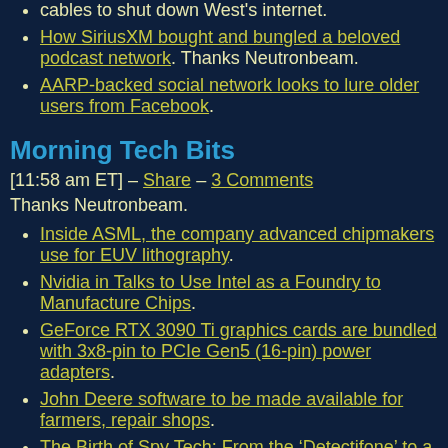cables to shut down West's internet.
How SiriusXM bought and bungled a beloved podcast network. Thanks Neutronbeam.
AARP-backed social network looks to lure older users from Facebook.
Morning Tech Bits
[11:58 am ET] – Share – 3 Comments
Thanks Neutronbeam.
Inside ASML, the company advanced chipmakers use for EUV lithography.
Nvidia in Talks to Use Intel as a Foundry to Manufacture Chips.
GeForce RTX 3090 Ti graphics cards are bundled with 3x8-pin to PCIe Gen5 (16-pin) power adapters.
John Deere software to be made available for farmers, repair shops.
The Birth of Spy Tech: From the ‘Detectifone’ to a Bugged Martini (may require registration or